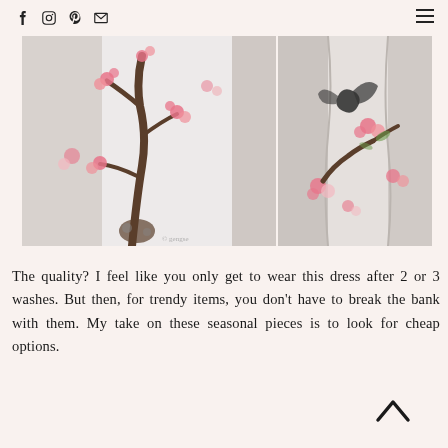Social icons: Facebook, Instagram, Pinterest, Email | Hamburger menu
[Figure (photo): Two side-by-side close-up photos of a floral dress with cherry blossom print in pink and brown on white fabric]
The quality? I feel like you only get to wear this dress after 2 or 3 washes. But then, for trendy items, you don't have to break the bank with them. My take on these seasonal pieces is to look for cheap options.